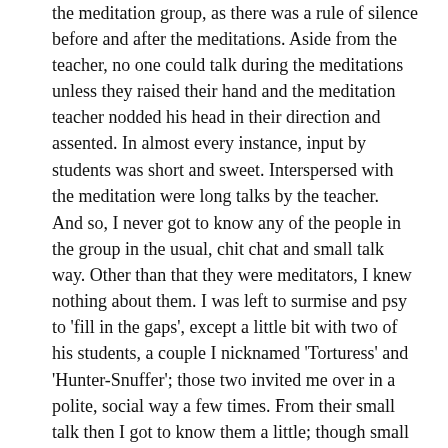the meditation group, as there was a rule of silence before and after the meditations. Aside from the teacher, no one could talk during the meditations unless they raised their hand and the meditation teacher nodded his head in their direction and assented. In almost every instance, input by students was short and sweet. Interspersed with the meditation were long talks by the teacher.
And so, I never got to know any of the people in the group in the usual, chit chat and small talk way. Other than that they were meditators, I knew nothing about them. I was left to surmise and psy to 'fill in the gaps', except a little bit with two of his students, a couple I nicknamed 'Torturess' and 'Hunter-Snuffer'; those two invited me over in a polite, social way a few times. From their small talk then I got to know them a little; though small talk, I feel, is but the polite social veneer, not the 'real McCoy' of true friendship. Do you not feel that to be so? It was from that small talk that I began to become aware of deep and very unsettling undercurrents in the